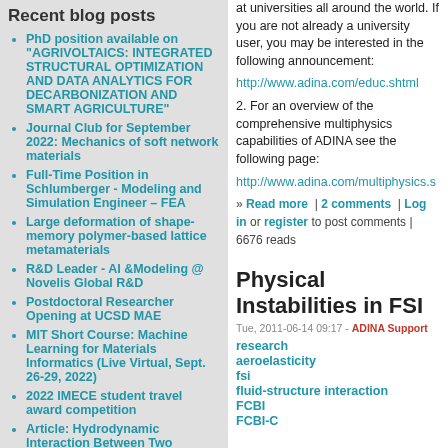Recent blog posts
PhD position available on "AGRIVOLTAICS: INTEGRATED STRUCTURAL OPTIMIZATION AND DATA ANALYTICS FOR DECARBONIZATION AND SMART AGRICULTURE"
Journal Club for September 2022: Mechanics of soft network materials
Full-Time Position in Schlumberger - Modeling and Simulation Engineer – FEA
Large deformation of shape-memory polymer-based lattice metamaterials
R&D Leader - AI &Modeling @ Novelis Global R&D
Postdoctoral Researcher Opening at UCSD MAE
MIT Short Course: Machine Learning for Materials Informatics (Live Virtual, Sept. 26-29, 2022)
2022 IMECE student travel award competition
Article: Hydrodynamic Interaction Between Two Flexible Finite Length Coaxial Cylinders: Non-Theoretical...
at universities all around the world. If you are not already a university user, you may be interested in the following announcement:
http://www.adina.com/educ.shtml
2. For an overview of the comprehensive multiphysics capabilities of ADINA see the following page:
http://www.adina.com/multiphysics.s
» Read more | 2 comments | Log in or register to post comments | 6676 reads
Physical Instabilities in FSI
Tue, 2011-06-14 09:17 - ADINA Support
research
aeroelasticity
fsi
fluid-structure interaction
FCBI
FCBI-C